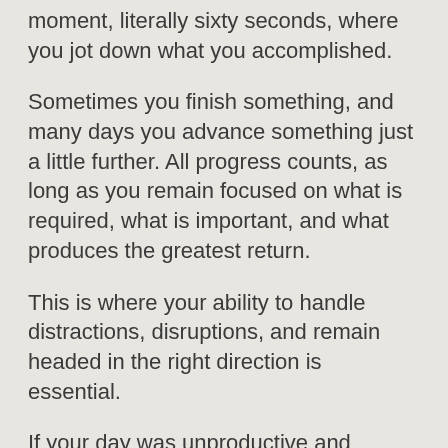moment, literally sixty seconds, where you jot down what you accomplished.
Sometimes you finish something, and many days you advance something just a little further. All progress counts, as long as you remain focused on what is required, what is important, and what produces the greatest return.
This is where your ability to handle distractions, disruptions, and remain headed in the right direction is essential.
If your day was unproductive and maybe discouraging, shake it off, and start fresh and focused the next day.
It is smart to make a list the night before of what you want to accomplish. Remember the old adage, if you